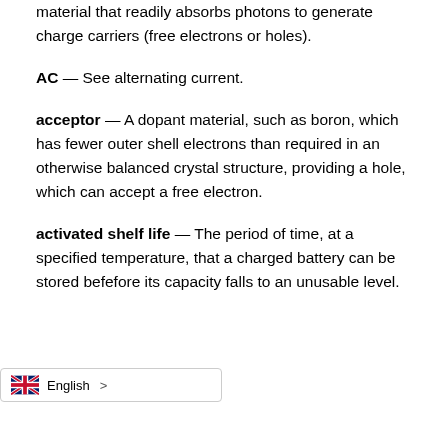material that readily absorbs photons to generate charge carriers (free electrons or holes).
AC — See alternating current.
acceptor — A dopant material, such as boron, which has fewer outer shell electrons than required in an otherwise balanced crystal structure, providing a hole, which can accept a free electron.
activated shelf life — The period of time, at a specified temperature, that a charged battery can be stored before its capacity falls to an unusable level.